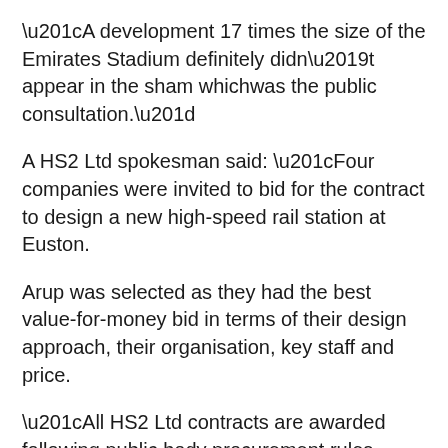“A development 17 times the size of the Emirates Stadium definitely didn’t appear in the sham whichwas the public consultation.”
A HS2 Ltd spokesman said: “Four companies were invited to bid for the contract to design a new high-speed rail station at Euston.
Arup was selected as they had the best value-for-money bid in terms of their design approach, their organisation, key staff and price.
“All HS2 Ltd contracts are awarded following public body procurement rules based on the principles of equal treatment, transparency and non-discrimination.”
Colin Stewart, Arup’s rail director, said: “The redesign of Euston Station is a hugely exciting project for us, which builds on our work for HS2 Ltd over the last two-and-a-